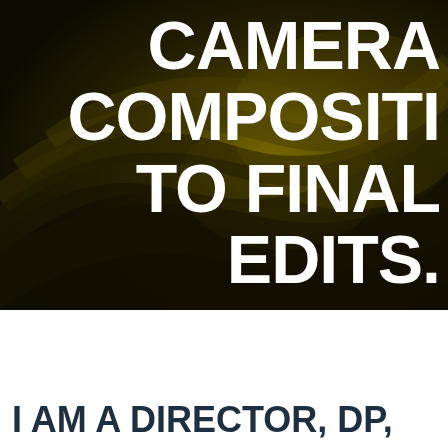[Figure (photo): Dark olive/golden-toned close-up photo of overlapping curved leaf or petal shapes with dramatic shadowing, serving as background for overlaid white text]
CAMERA COMPOSITION TO FINAL EDITS.
I AM A DIRECTOR, DP,